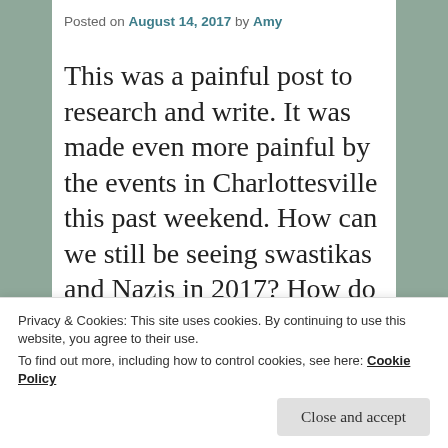Posted on August 14, 2017 by Amy
This was a painful post to research and write. It was made even more painful by the events in Charlottesville this past weekend. How can we still be seeing swastikas and Nazis in 2017? How do people learn to hate those who differ from them? When will we
Privacy & Cookies: This site uses cookies. By continuing to use this website, you agree to their use.
To find out more, including how to control cookies, see here: Cookie Policy